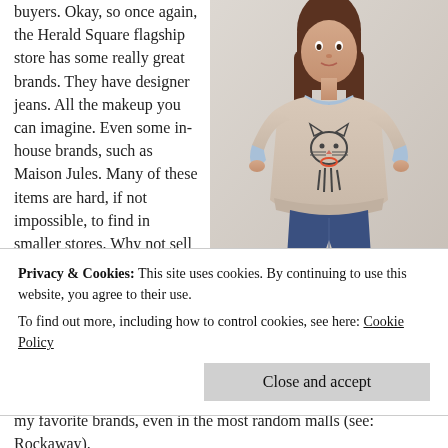buyers. Okay, so once again, the Herald Square flagship store has some really great brands. They have designer jeans. All the makeup you can imagine. Even some in-house brands, such as Maison Jules. Many of these items are hard, if not impossible, to find in smaller stores. Why not sell the full Maison Jules
[Figure (photo): Photo of a woman wearing a beige Maison Jules cat-print sweater layered over a light blue chambray shirt with dark jeans]
an adorable Maison Jules sweater I
Privacy & Cookies: This site uses cookies. By continuing to use this website, you agree to their use.
To find out more, including how to control cookies, see here: Cookie Policy
my favorite brands, even in the most random malls (see: Rockaway).